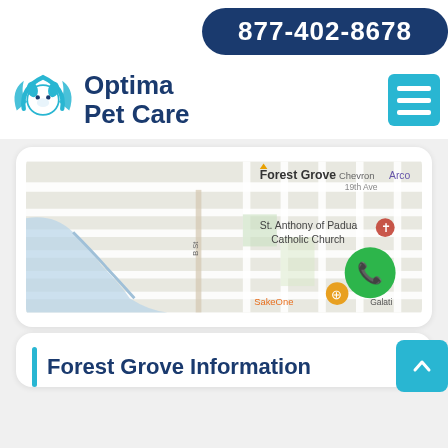877-402-8678
[Figure (logo): Optima Pet Care logo with blue dog icon and text 'Optima Pet Care']
[Figure (map): Google Maps view of Forest Grove area showing St. Anthony of Padua Catholic Church, Chevron, Arco, SakeOne, and surrounding streets with a green phone call button overlay]
Forest Grove Information